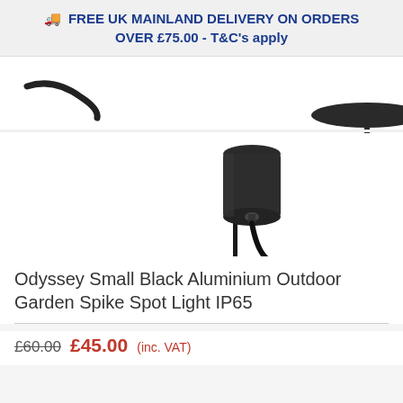🚚 FREE UK MAINLAND DELIVERY ON ORDERS OVER £75.00 - T&C's apply
[Figure (photo): Outdoor garden spike spot light shown from two angles: top shows cable and base mount, main shows black aluminium cylindrical spotlight head with cable on a spike, white background.]
Odyssey Small Black Aluminium Outdoor Garden Spike Spot Light IP65
£60.00  £45.00 (inc. VAT)